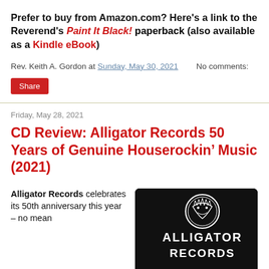Prefer to buy from Amazon.com? Here's a link to the Reverend's Paint It Black! paperback (also available as a Kindle eBook)
Rev. Keith A. Gordon at Sunday, May 30, 2021   No comments:
Share
Friday, May 28, 2021
CD Review: Alligator Records 50 Years of Genuine Houserockin' Music (2021)
Alligator Records celebrates its 50th anniversary this year – no mean
[Figure (photo): Alligator Records 50th anniversary album cover — white alligator logo on black background with 'ALLIGATOR RECORDS' text in large white letters]